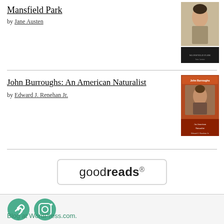Mansfield Park
by Jane Austen
[Figure (photo): Book cover of Mansfield Park – portrait of a woman in Regency-era dress on top, dark spine label on bottom]
John Burroughs: An American Naturalist
by Edward J. Renehan Jr.
[Figure (photo): Book cover of John Burroughs: An American Naturalist – red/orange cover with portrait photo]
[Figure (logo): Goodreads logo in a rounded rectangle box]
[Figure (other): Two green circular social media icons: a chain link icon and an Instagram icon]
Blog at WordPress.com.